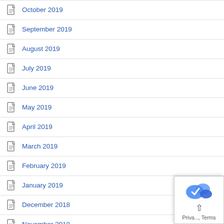October 2019
September 2019
August 2019
July 2019
June 2019
May 2019
April 2019
March 2019
February 2019
January 2019
December 2018
November 2018
October 2018
[Figure (logo): Google reCAPTCHA / Privacy popup with back-to-top arrow and Privacy/Terms links]